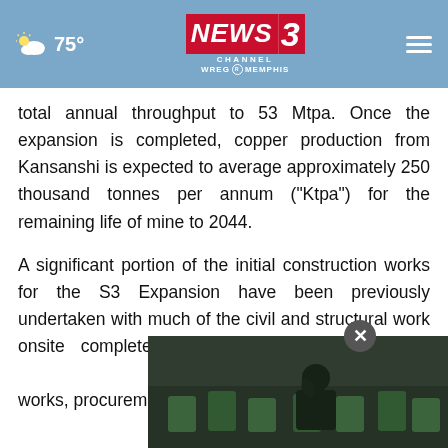75° NEWS3 CHANNEL WREG MEMPHIS
total annual throughput to 53 Mtpa. Once the expansion is completed, copper production from Kansanshi is expected to average approximately 250 thousand tonnes per annum (“Ktpa”) for the remaining life of mine to 2044.
A significant portion of the initial construction works for the S3 Expansion have been previously undertaken with much of the civil and structural work onsite completed. The remaining work includes remaining engineering design works, procurement and
[Figure (photo): Partial screenshot/overlay of a video thumbnail showing a person seated with green chairs in background]